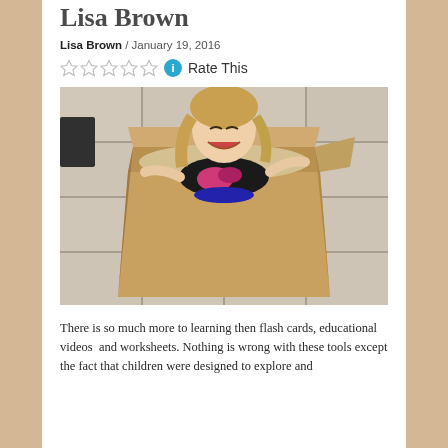Lisa Brown
Lisa Brown / January 19, 2016
Rate This
[Figure (photo): A young girl with long blonde hair sitting inside a large cardboard box on a tiled floor, smiling and laughing with arms on the box edges.]
There is so much more to learning then flash cards, educational videos  and worksheets. Nothing is wrong with these tools except the fact that children were designed to explore and